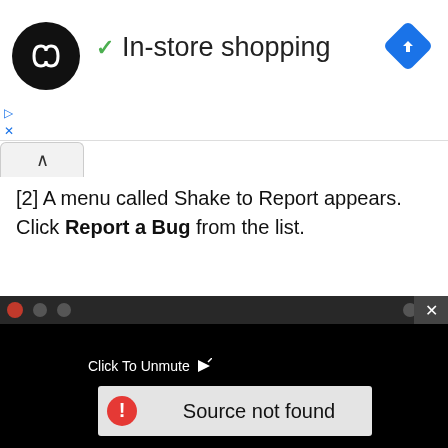[Figure (screenshot): App logo circle with infinity-like icon and 'In-store shopping' text with green checkmark, and a blue diamond navigation icon in the top right]
[2] A menu called Shake to Report appears. Click Report a Bug from the list.
[Figure (screenshot): Video player overlay showing 'Click To Unmute' label and a 'Source not found' error message box with red warning icon on black background]